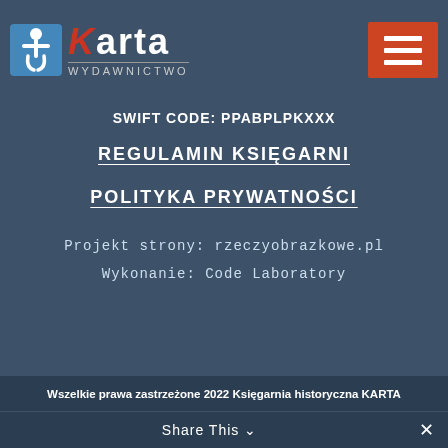[Figure (logo): Karta Wydawnictwo logo with accessibility icon and hamburger menu button]
SWIFT CODE: PPABPLPKXXX
REGULAMIN KSIĘGARNI
POLITYKA PRYWATNOŚCI
Projekt strony: rzeczyobrazkowe.pl
Wykonanie: Code Laboratory
Wszelkie prawa zastrzeżone 2022 Księgarnia historyczna KARTA
Share This ∨  ✕